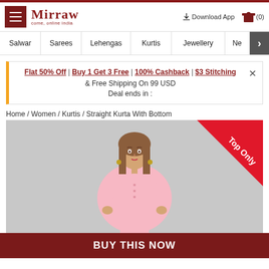Mirraw - come, online india
Download App  (0)
Salwar | Sarees | Lehengas | Kurtis | Jewellery | Ne >
Flat 50% Off | Buy 1 Get 3 Free | 100% Cashback | $3 Stitching & Free Shipping On 99 USD   Deal ends in :
Home / Women / Kurtis / Straight Kurta With Bottom
[Figure (photo): Woman wearing a pink straight kurta, posed against a grey background. A red diagonal 'Top Only' badge is shown in the top-right corner of the image.]
BUY THIS NOW